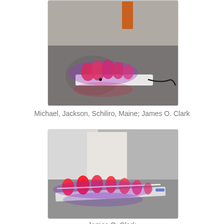[Figure (photo): Photo of a light sculpture installation on a gallery floor: a long rectangular white base holding several red/pink glowing geometric forms lit from within, with a dark cable trailing to the right. The piece is photographed in a gallery space with light gray flooring.]
Michael, Jackson, Schiliro, Maine; James O. Clark
[Figure (photo): Second photo of the same or similar light sculpture installation, viewed from a slightly different angle showing the full length of the white rectangular base with red/pink glowing forms and a bright horizontal tube of light running through them. Blue-purple light glows on the floor beneath.]
James O. Clark (partial, cut off at bottom)